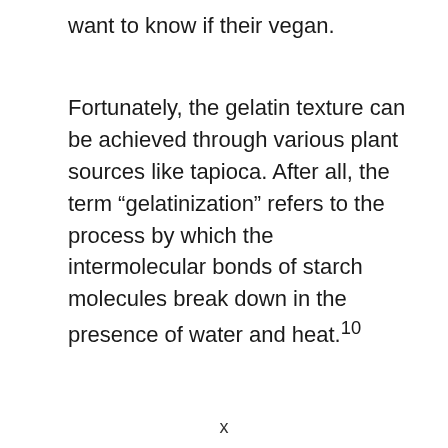want to know if their vegan.
Fortunately, the gelatin texture can be achieved through various plant sources like tapioca. After all, the term “gelatinization” refers to the process by which the intermolecular bonds of starch molecules break down in the presence of water and heat.10
x